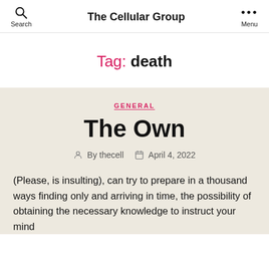Search   The Cellular Group   Menu
Tag: death
GENERAL
The Own
By thecell   April 4, 2022
(Please, is insulting), can try to prepare in a thousand ways finding only and arriving in time, the possibility of obtaining the necessary knowledge to instruct your mind